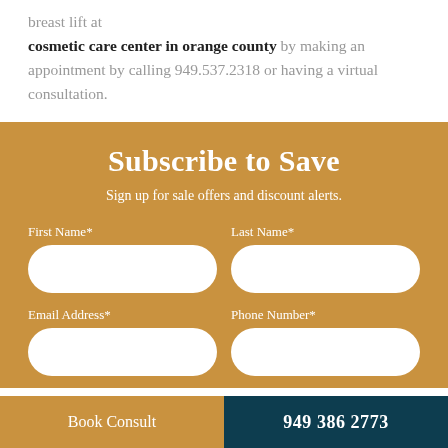breast lift at cosmetic care center in orange county by making an appointment by calling 949.537.2318 or having a virtual consultation.
Subscribe to Save
Sign up for sale offers and discount alerts.
First Name*
Last Name*
Email Address*
Phone Number*
Book Consult
949 386 2773